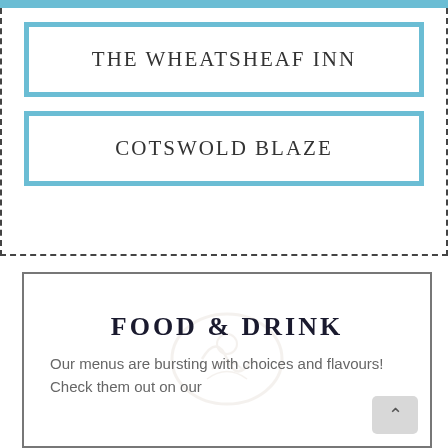THE WHEATSHEAF INN
COTSWOLD BLAZE
FOOD & DRINK
Our menus are bursting with choices and flavours! Check them out on our